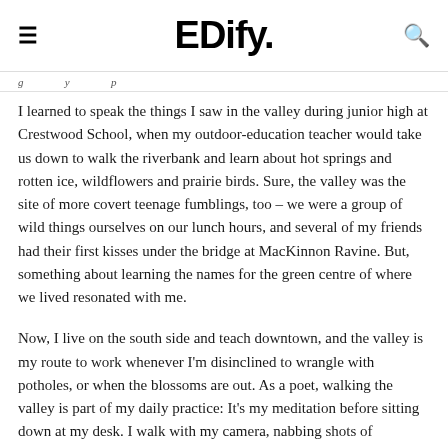EDify.
g … y … p
I learned to speak the things I saw in the valley during junior high at Crestwood School, when my outdoor-education teacher would take us down to walk the riverbank and learn about hot springs and rotten ice, wildflowers and prairie birds. Sure, the valley was the site of more covert teenage fumblings, too – we were a group of wild things ourselves on our lunch hours, and several of my friends had their first kisses under the bridge at MacKinnon Ravine. But, something about learning the names for the green centre of where we lived resonated with me.
Now, I live on the south side and teach downtown, and the valley is my route to work whenever I'm disinclined to wrangle with potholes, or when the blossoms are out. As a poet, walking the valley is part of my daily practice: It's my meditation before sitting down at my desk. I walk with my camera, nabbing shots of highbush cranberry and Canada violet, river beaver and